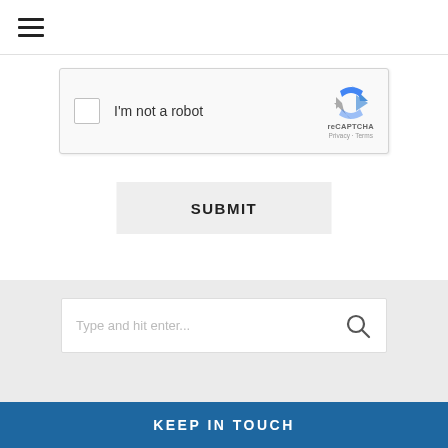[Figure (screenshot): Hamburger menu icon (three horizontal lines) in top-left navigation bar]
[Figure (screenshot): reCAPTCHA widget with checkbox labeled 'I'm not a robot' and Google reCAPTCHA logo with Privacy and Terms links]
SUBMIT
[Figure (screenshot): Search bar with placeholder text 'Type and hit enter...' and a magnifying glass icon]
KEEP IN TOUCH